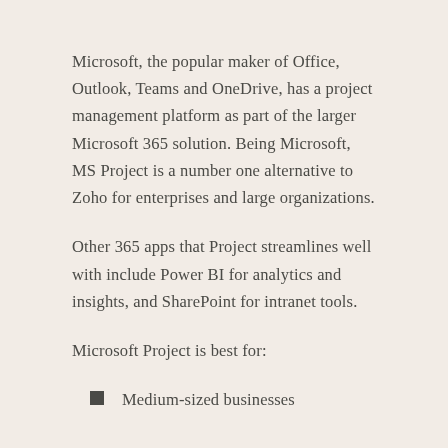Microsoft, the popular maker of Office, Outlook, Teams and OneDrive, has a project management platform as part of the larger Microsoft 365 solution. Being Microsoft, MS Project is a number one alternative to Zoho for enterprises and large organizations.
Other 365 apps that Project streamlines well with include Power BI for analytics and insights, and SharePoint for intranet tools.
Microsoft Project is best for:
Medium-sized businesses